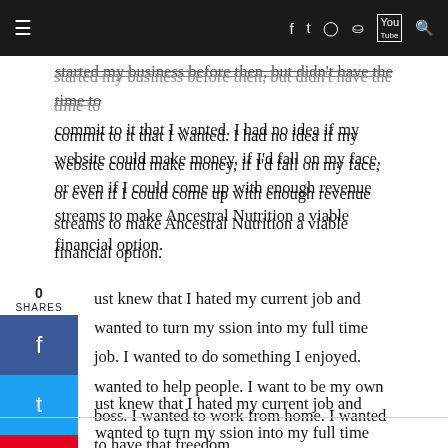≡  f  t  (instagram)  p  (youtube)  (search)
started my business before then, but didn't have the time to commit to it that I wanted. I had no idea if my website could make money, if I'd fall on my face, or even if I could come up with enough revenue streams to make Ancestral Nutrition a viable financial option.
I just knew that I hated my current job and wanted to turn my passion into my full time job. I wanted to do something I enjoyed. I wanted to help people. I want to be my own boss. I wanted to work from home. I wanted to have that freedom.
So I left.